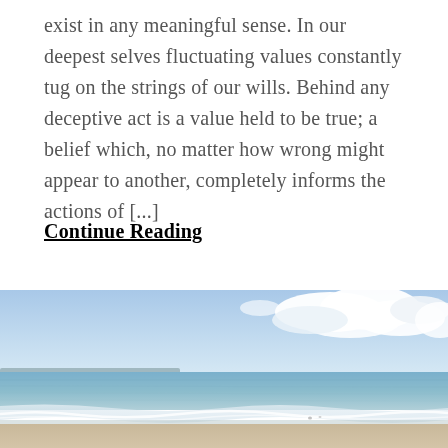exist in any meaningful sense. In our deepest selves fluctuating values constantly tug on the strings of our wills. Behind any deceptive act is a value held to be true; a belief which, no matter how wrong might appear to another, completely informs the actions of [...]
Continue Reading
[Figure (photo): A beach scene with calm ocean waves, sandy shore, blue sky with white clouds on the right side and a distant shoreline on the horizon.]